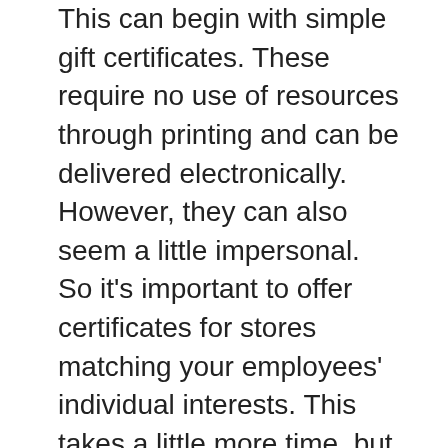This can begin with simple gift certificates. These require no use of resources through printing and can be delivered electronically. However, they can also seem a little impersonal. So it’s important to offer certificates for stores matching your employees’ individual interests. This takes a little more time, but it can be effective in demonstrating genuine care for workers.
Flowers and plants can also make for meaningful gifts. They bring some additional color and positivity into workers’ home office spaces. Not to mention they can enhance your employees’ appreciation for the natural world. However, they do require additional resources to keep alive. It can be more sustainable to utilize preserved plants that are maintenance-free and last much longer than fresh flowers. It can also mean you